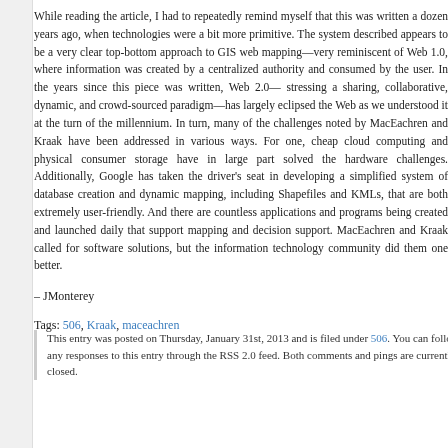While reading the article, I had to repeatedly remind myself that this was written a dozen years ago, when technologies were a bit more primitive. The system described appears to be a very clear top-bottom approach to GIS web mapping—very reminiscent of Web 1.0, where information was created by a centralized authority and consumed by the user. In the years since this piece was written, Web 2.0—stressing a sharing, collaborative, dynamic, and crowd-sourced paradigm—has largely eclipsed the Web as we understood it at the turn of the millennium. In turn, many of the challenges noted by MacEachren and Kraak have been addressed in various ways. For one, cheap cloud computing and physical consumer storage have in large part solved the hardware challenges. Additionally, Google has taken the driver's seat in developing a simplified system of database creation and dynamic mapping, including Shapefiles and KMLs, that are both extremely user-friendly. And there are countless applications and programs being created and launched daily that support mapping and decision support. MacEachren and Kraak called for software solutions, but the information technology community did them one better.
– JMonterey
Tags: 506, Kraak, maceachren
This entry was posted on Thursday, January 31st, 2013 and is filed under 506. You can follow any responses to this entry through the RSS 2.0 feed. Both comments and pings are currently closed.